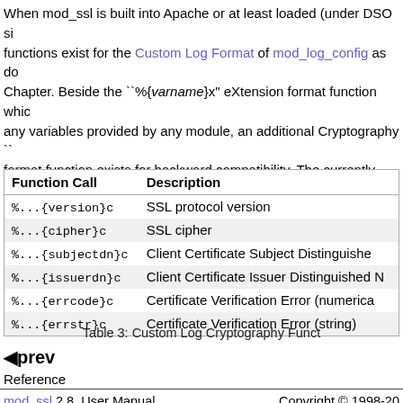When mod_ssl is built into Apache or at least loaded (under DSO si... functions exist for the Custom Log Format of mod_log_config as do... Chapter. Beside the ``%{varname}x" eXtension format function whic... any variables provided by any module, an additional Cryptography `... format function exists for backward compatibility. The currently imp... are listed in Table 3.
| Function Call | Description |
| --- | --- |
| %...{version}c | SSL protocol version |
| %...{cipher}c | SSL cipher |
| %...{subjectdn}c | Client Certificate Subject Distinguished... |
| %...{issuerdn}c | Client Certificate Issuer Distinguished N... |
| %...{errcode}c | Certificate Verification Error (numerica... |
| %...{errstr}c | Certificate Verification Error (string) |
Table 3: Custom Log Cryptography Funct...
◄prev
Reference
mod_ssl 2.8, User Manual The Apache Interface to OpenSSL    Copyright © 1998-20...